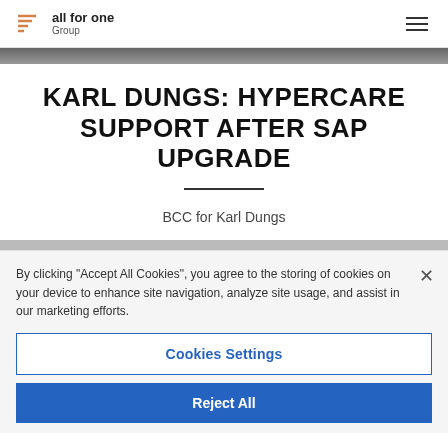all for one Group
KARL DUNGS: HYPERCARE SUPPORT AFTER SAP UPGRADE
BCC for Karl Dungs
By clicking "Accept All Cookies", you agree to the storing of cookies on your device to enhance site navigation, analyze site usage, and assist in our marketing efforts.
Cookies Settings
Reject All